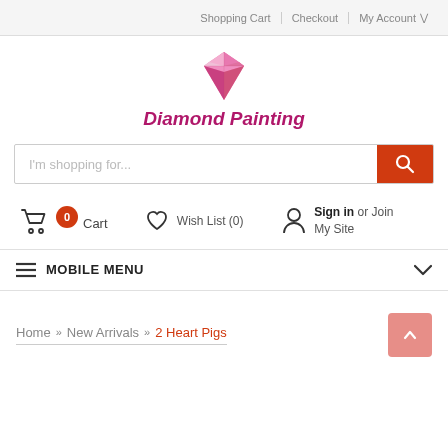Shopping Cart | Checkout | My Account
[Figure (logo): Pink diamond gemstone icon above the text 'Diamond Painting' in bold italic magenta font]
I'm shopping for...
0 Cart | Wish List (0) | Sign in or Join My Site
MOBILE MENU
Home » New Arrivals » 2 Heart Pigs